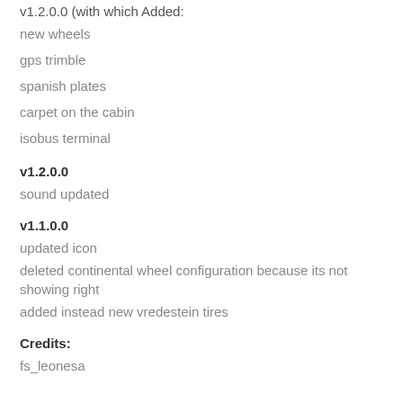v1.2.0.0 (with which Added:
new wheels
gps trimble
spanish plates
carpet on the cabin
isobus terminal
v1.2.0.0
sound updated
v1.1.0.0
updated icon
deleted continental wheel configuration because its not showing right
added instead new vredestein tires
Credits:
fs_leonesa